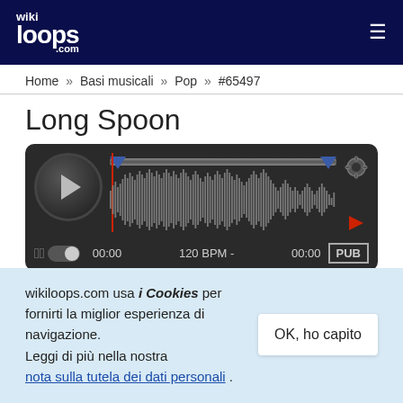wikiloops.com
Home » Basi musicali » Pop » #65497
Long Spoon
[Figure (other): Audio player with waveform visualization, play button, volume control, time display showing 00:00 start and 00:00 end, 120 BPM, and PUB button]
wikiloops.com usa i Cookies per fornirti la miglior esperienza di navigazione.
Leggi di più nella nostra nota sulla tutela dei dati personali .
OK, ho capito